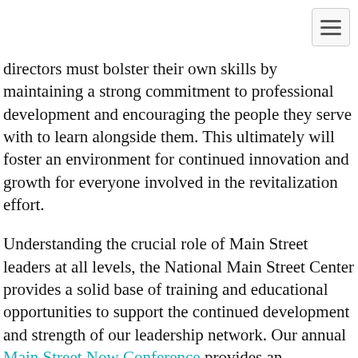directors must bolster their own skills by maintaining a strong commitment to professional development and encouraging the people they serve with to learn alongside them. This ultimately will foster an environment for continued innovation and growth for everyone involved in the revitalization effort.
Understanding the crucial role of Main Street leaders at all levels, the National Main Street Center provides a solid base of training and educational opportunities to support the continued development and strength of our leadership network. Our annual Main Street Now Conference provides an opportunity for everyone in the Main Street movement to come together to hear best practices and great examples of revitalization across the country. The National Main Street Center also